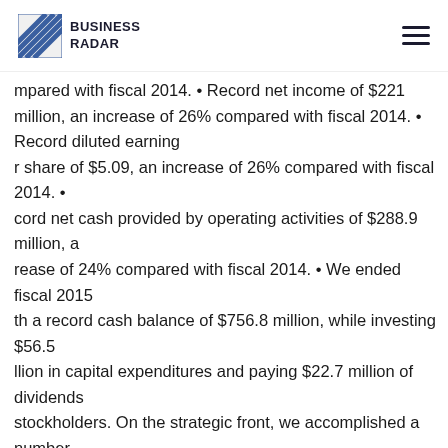BUSINESS RADAR
mpared with fiscal 2014. • Record net income of $221 million, an increase of 26% compared with fiscal 2014. • Record diluted earnings per share of $5.09, an increase of 26% compared with fiscal 2014. • Record net cash provided by operating activities of $288.9 million, an increase of 24% compared with fiscal 2014. • We ended fiscal 2015 with a record cash balance of $756.8 million, while investing $56.5 million in capital expenditures and paying $22.7 million of dividends to stockholders. On the strategic front, we accomplished a number of items in fiscal 2015. We extended our leadership position in North America through the continued expansion of our product portfolio of innovative and energy-efficient luminaires and lighting control solutions. As a result, we generated net sales that meaningfully exceeded the growth rate of our addressable market. We continued with investments to enhance our production, distribution, and customer service and support capabilities, and further accelerated the deployment of our lean business processes, which improved our on-time delivery and company-wide productivity. Additionally, we